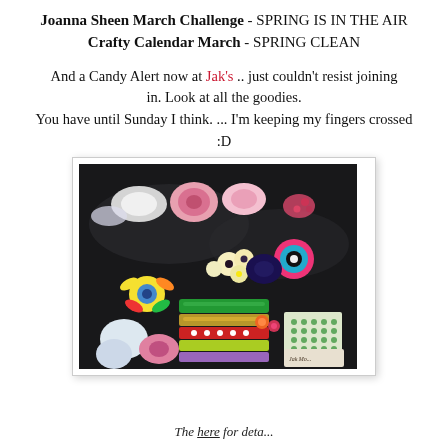Joanna Sheen March Challenge - SPRING IS IN THE AIR
Crafty Calendar March - SPRING CLEAN
And a Candy Alert now at Jak's .. just couldn't resist joining in. Look at all the goodies.
You have until Sunday I think. ... I'm keeping my fingers crossed :D
[Figure (photo): Photo of craft supplies including fabric flowers, ribbons, buttons, embellishments and decorative items arranged on dark background]
The here for deta...